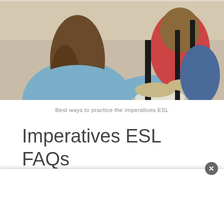[Figure (photo): Students sitting at desks in a classroom, viewed from behind, appearing to be taking notes or working on an assignment. One student in a light blue top with long brown hair is prominent in the foreground.]
Best ways to practice the imperatives ESL
Imperatives ESL FAQs
There are a number of common questions that